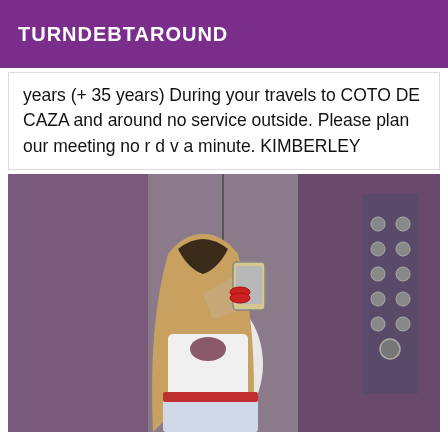TURNDEBTAROUND
years (+ 35 years) During your travels to COTO DE CAZA and around no service outside. Please plan our meeting no r d v a minute. KIMBERLEY
[Figure (photo): A woman with long blonde hair taking a selfie in a mirror inside an elevator, wearing a white cutout top and denim shorts with a red belt and red bracelets.]